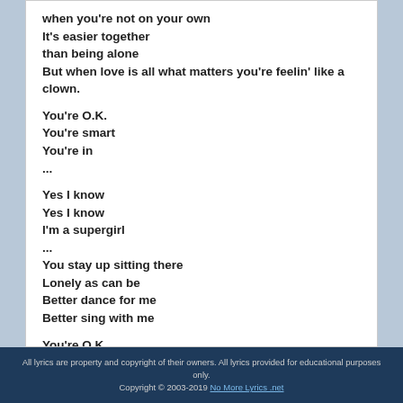when you're not on your own
It's easier together
than being alone
But when love is all what matters you're feelin' like a clown.
You're O.K.
You're smart
You're in
...
Yes I know
Yes I know
I'm a supergirl
...
You stay up sitting there
Lonely as can be
Better dance for me
Better sing with me
You're O.K.
You're smart
You're in
All lyrics are property and copyright of their owners. All lyrics provided for educational purposes only.
Copyright © 2003-2019 No More Lyrics .net